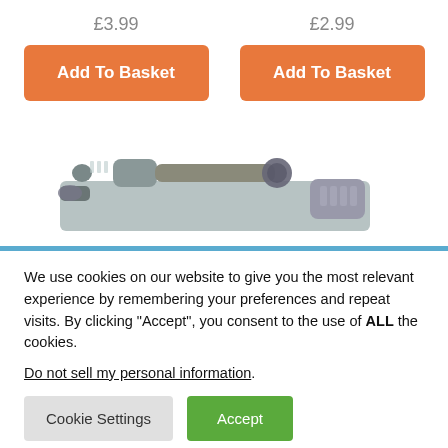£3.99
£2.99
Add To Basket
Add To Basket
[Figure (photo): Partial top-down view of a toy or model weapon/gun with scope and mechanical details in grey/metallic finish]
We use cookies on our website to give you the most relevant experience by remembering your preferences and repeat visits. By clicking "Accept", you consent to the use of ALL the cookies.
Do not sell my personal information.
Cookie Settings
Accept